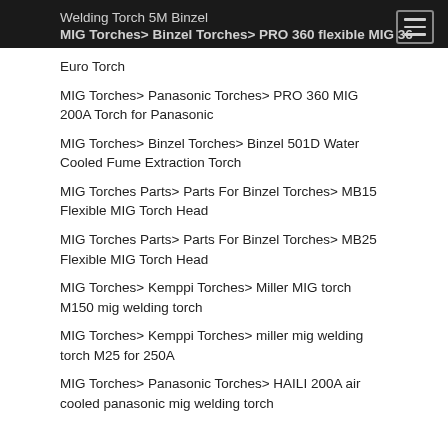Welding Torch 5M Binzel
MIG Torches> Binzel Torches> PRO 360 flexible MIG 36
Euro Torch
MIG Torches> Panasonic Torches> PRO 360 MIG 200A Torch for Panasonic
MIG Torches> Binzel Torches> Binzel 501D Water Cooled Fume Extraction Torch
MIG Torches Parts> Parts For Binzel Torches> MB15 Flexible MIG Torch Head
MIG Torches Parts> Parts For Binzel Torches> MB25 Flexible MIG Torch Head
MIG Torches> Kemppi Torches> Miller MIG torch M150 mig welding torch
MIG Torches> Kemppi Torches> miller mig welding torch M25 for 250A
MIG Torches> Panasonic Torches> HAILI 200A air cooled panasonic mig welding torch